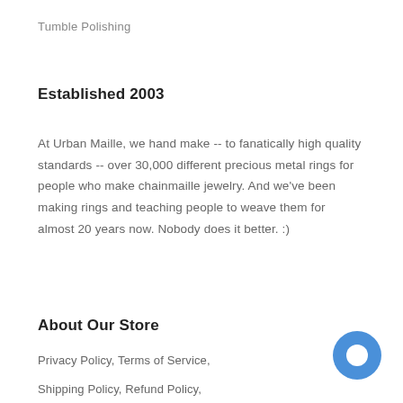Tumble Polishing
Established 2003
At Urban Maille, we hand make -- to fanatically high quality standards -- over 30,000 different precious metal rings for people who make chainmaille jewelry. And we've been making rings and teaching people to weave them for almost 20 years now. Nobody does it better. :)
About Our Store
Privacy Policy, Terms of Service,
Shipping Policy, Refund Policy,
[Figure (illustration): Blue circular chat bubble icon in the bottom right corner]